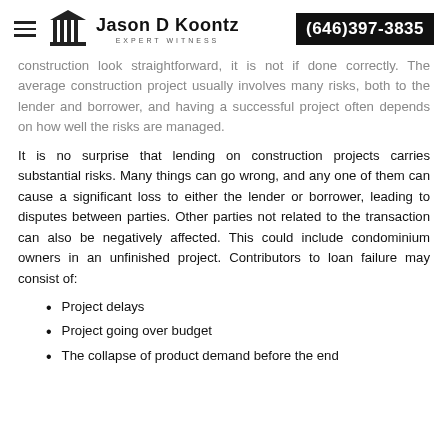Jason D Koontz EXPERT WITNESS | (646)397-3835
construction look straightforward, it is not if done correctly. The average construction project usually involves many risks, both to the lender and borrower, and having a successful project often depends on how well the risks are managed.
It is no surprise that lending on construction projects carries substantial risks. Many things can go wrong, and any one of them can cause a significant loss to either the lender or borrower, leading to disputes between parties. Other parties not related to the transaction can also be negatively affected. This could include condominium owners in an unfinished project. Contributors to loan failure may consist of:
Project delays
Project going over budget
The collapse of product demand before the end